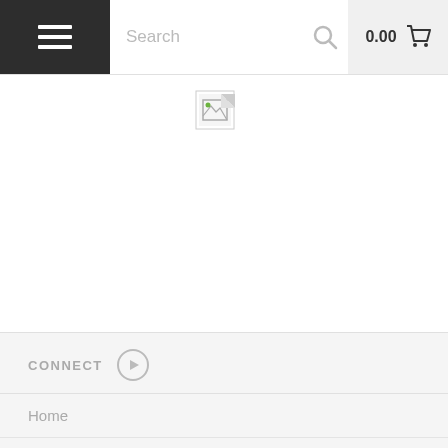Search  0.00
[Figure (screenshot): Broken image placeholder icon for product photo]
JC6375, Mechanical Seal, Flowserve, PM1029134
CONNECT
Home
Shop by Category
Shop by Brand